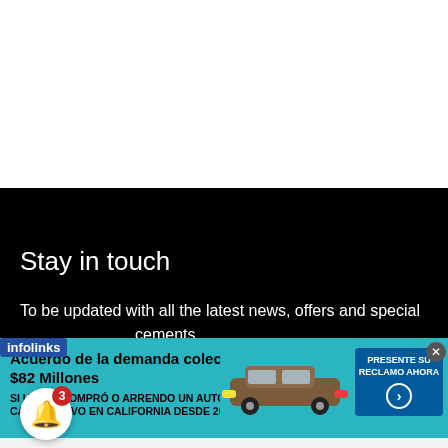[Figure (screenshot): White blank area at the top of a mobile web page screenshot]
Stay in touch
To be updated with all the latest news, offers and special announcements.
[Figure (screenshot): Infolinks advertisement banner: Acuerdo de la demanda colectiva por $82 Millones. SI USTED COMPRÓ O ARRENDO UN AUTOMÓVIL O CAMIÓN NUEVO EN CALIFORNIA DESDE 2001 A 2003. With car image and PRESENTE SU RECLAMO AHORA button.]
[Figure (screenshot): Notification bell icon with red badge showing number 3]